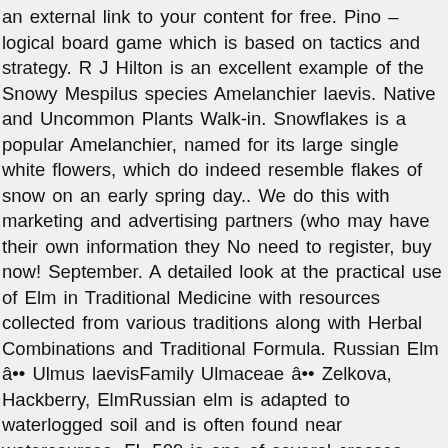an external link to your content for free. Pino – logical board game which is based on tactics and strategy. R J Hilton is an excellent example of the Snowy Mespilus species Amelanchier laevis. Native and Uncommon Plants Walk-in. Snowflakes is a popular Amelanchier, named for its large single white flowers, which do indeed resemble flakes of snow on an early spring day.. We do this with marketing and advertising partners (who may have their own information they No need to register, buy now! September. A detailed look at the practical use of Elm in Traditional Medicine with resources collected from various traditions along with Herbal Combinations and Traditional Formula. Russian Elm â•• Ulmus laevisFamily Ulmaceae â•• Zelkova, Hackberry, ElmRussian elm is adapted to waterlogged soil and is often found near watercourses. FL 509 is one of several crosses obtained during the later stages of the Italian hybridisation programme using U. chenmoui, a small elm from â€¦ Elm trees are members of the Ulmus genus in the Ulmaceae family of plants. Huge collection, amazing choice, 100+ million high quality, affordable RF and RM